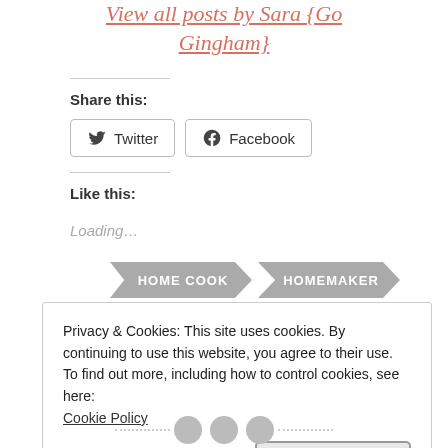View all posts by Sara {Go Gingham}
Share this:
Twitter Facebook
Like this:
Loading...
[Figure (infographic): Two grey arrow-shaped tags reading HOME COOK and HOMEMAKER]
Privacy & Cookies: This site uses cookies. By continuing to use this website, you agree to their use.
To find out more, including how to control cookies, see here:
Cookie Policy
Close and accept